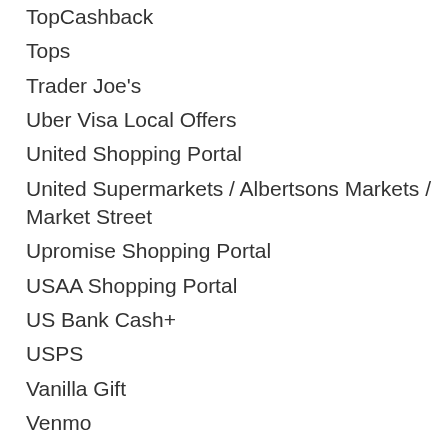TopCashback
Tops
Trader Joe's
Uber Visa Local Offers
United Shopping Portal
United Supermarkets / Albertsons Markets / Market Street
Upromise Shopping Portal
USAA Shopping Portal
US Bank Cash+
USPS
Vanilla Gift
Venmo
Walgreens
Walmart
Weis Markets
Wells Fargo
Whole Foods